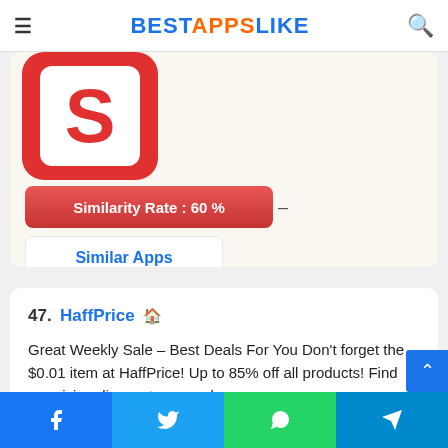BESTAPPSLIKE
[Figure (screenshot): Partial app icon — red rounded square with white S letter, for a shopping app]
Similarity Rate : 60 %
Similar Apps
47. HaffPrice — Great Weekly Sale – Best Deals For You Don't forget the $0.01 item at HaffPrice! Up to 85% off all products! Find surprising discounts every day
Facebook Twitter WhatsApp Telegram share buttons